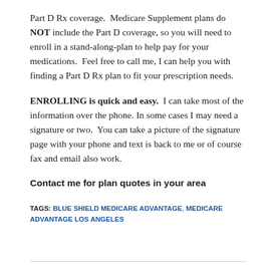Part D Rx coverage.  Medicare Supplement plans do NOT include the Part D coverage, so you will need to enroll in a stand-along-plan to help pay for your medications.  Feel free to call me, I can help you with finding a Part D Rx plan to fit your prescription needs.
ENROLLING is quick and easy.  I can take most of the information over the phone. In some cases I may need a signature or two.  You can take a picture of the signature page with your phone and text is back to me or of course fax and email also work.
Contact me for plan quotes in your area
TAGS: BLUE SHIELD MEDICARE ADVANTAGE, MEDICARE ADVANTAGE LOS ANGELES